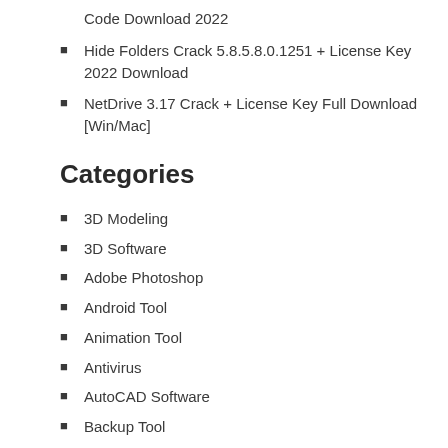Code Download 2022
Hide Folders Crack 5.8.5.8.0.1251 + License Key 2022 Download
NetDrive 3.17 Crack + License Key Full Download [Win/Mac]
Categories
3D Modeling
3D Software
Adobe Photoshop
Android Tool
Animation Tool
Antivirus
AutoCAD Software
Backup Tool
Converter
Data Recovery